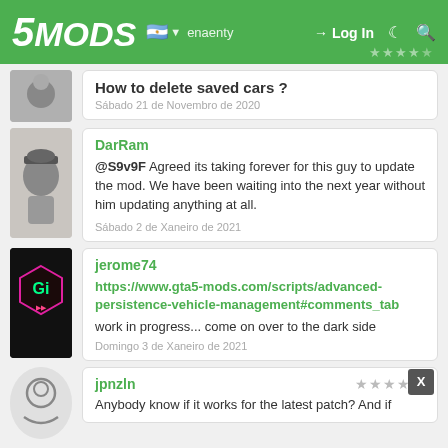5MODS | Log In
How to delete saved cars ?
Sábado 21 de Novembro de 2020
DarRam
@S9v9F Agreed its taking forever for this guy to update the mod. We have been waiting into the next year without him updating anything at all.
Sábado 2 de Xaneiro de 2021
jerome74
https://www.gta5-mods.com/scripts/advanced-persistence-vehicle-management#comments_tab
work in progress... come on over to the dark side
Domingo 3 de Xaneiro de 2021
jpnzln
Anybody know if it works for the latest patch? And if